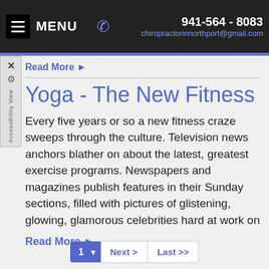MENU  941-564-8083  chiropractorinnorthport@gmail.com
Read More ▶
Yoga - The New Fitness
Every five years or so a new fitness craze sweeps through the culture. Television news anchors blather on about the latest, greatest exercise programs. Newspapers and magazines publish features in their Sunday sections, filled with pictures of glistening, glowing, glamorous celebrities hard at work on
Read More ▶